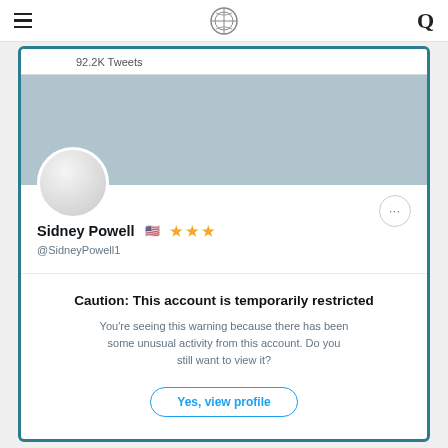Navigation bar with hamburger menu, compass logo, and search icon
[Figure (screenshot): Twitter/X profile page for Sidney Powell @SidneyPowell1 showing a restricted account warning. Profile has a blurred banner, avatar circle, 92.2K Tweets count, name with US flag emoji and three gold stars. A caution overlay reads: 'Caution: This account is temporarily restricted. You're seeing this warning because there has been some unusual activity from this account. Do you still want to view it?' with a 'Yes, view profile' button.]
92.2K Tweets
Sidney Powell 🇺🇸 ⭐ ⭐ ⭐
@SidneyPowell1
Caution: This account is temporarily restricted
You're seeing this warning because there has been some unusual activity from this account. Do you still want to view it?
Yes, view profile